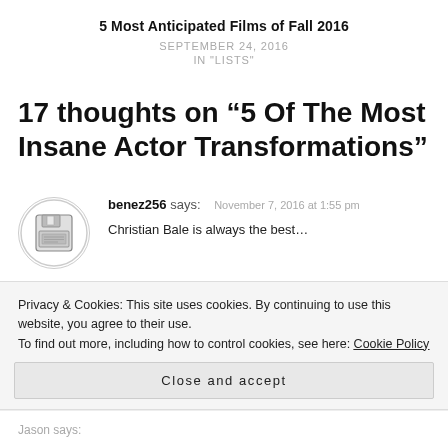5 Most Anticipated Films of Fall 2016
SEPTEMBER 24, 2016
IN "LISTS"
17 thoughts on “5 Of The Most Insane Actor Transformations”
benez256 says: November 7, 2016 at 1:55 pm
Christian Bale is always the best…
Privacy & Cookies: This site uses cookies. By continuing to use this website, you agree to their use. To find out more, including how to control cookies, see here: Cookie Policy
Close and accept
Jason says: